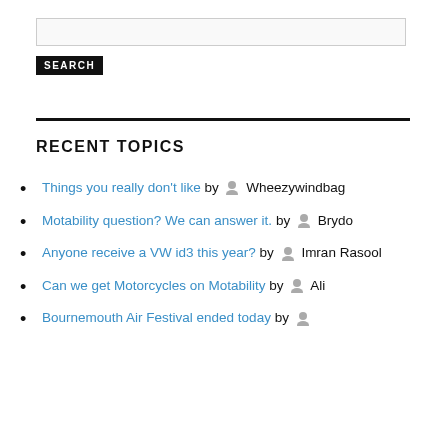[Search input field]
SEARCH
RECENT TOPICS
Things you really don't like by [avatar] Wheezywindbag
Motability question? We can answer it. by [avatar] Brydo
Anyone receive a VW id3 this year? by [avatar] Imran Rasool
Can we get Motorcycles on Motability by [avatar] Ali
Bournemouth Air Festival ended today by [avatar]